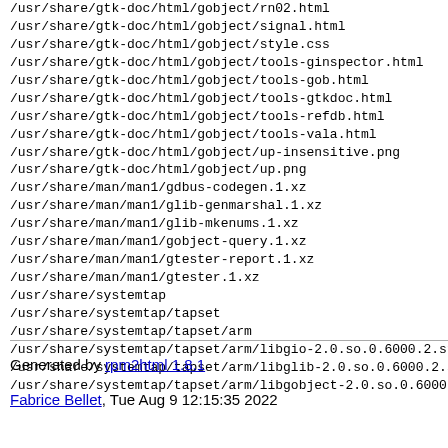/usr/share/gtk-doc/html/gobject/rn02.html
/usr/share/gtk-doc/html/gobject/signal.html
/usr/share/gtk-doc/html/gobject/style.css
/usr/share/gtk-doc/html/gobject/tools-ginspector.html
/usr/share/gtk-doc/html/gobject/tools-gob.html
/usr/share/gtk-doc/html/gobject/tools-gtkdoc.html
/usr/share/gtk-doc/html/gobject/tools-refdb.html
/usr/share/gtk-doc/html/gobject/tools-vala.html
/usr/share/gtk-doc/html/gobject/up-insensitive.png
/usr/share/gtk-doc/html/gobject/up.png
/usr/share/man/man1/gdbus-codegen.1.xz
/usr/share/man/man1/glib-genmarshal.1.xz
/usr/share/man/man1/glib-mkenums.1.xz
/usr/share/man/man1/gobject-query.1.xz
/usr/share/man/man1/gtester-report.1.xz
/usr/share/man/man1/gtester.1.xz
/usr/share/systemtap
/usr/share/systemtap/tapset
/usr/share/systemtap/tapset/arm
/usr/share/systemtap/tapset/arm/libgio-2.0.so.0.6000.2.st
/usr/share/systemtap/tapset/arm/libglib-2.0.so.0.6000.2.s
/usr/share/systemtap/tapset/arm/libgobject-2.0.so.0.6000
Generated by rpm2html 1.8.1
Fabrice Bellet, Tue Aug 9 12:15:35 2022